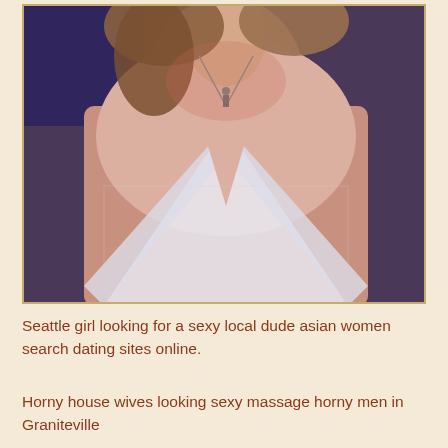[Figure (photo): Close-up photo of a woman wearing a deep V-neck white lace top with a necklace, torso and lower face visible, curly hair, warm-toned background]
Seattle girl looking for a sexy local dude asian women search dating sites online.
Horny house wives looking sexy massage horny men in Graniteville